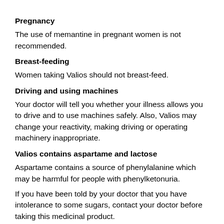Pregnancy
The use of memantine in pregnant women is not recommended.
Breast-feeding
Women taking Valios should not breast-feed.
Driving and using machines
Your doctor will tell you whether your illness allows you to drive and to use machines safely. Also, Valios may change your reactivity, making driving or operating machinery inappropriate.
Valios contains aspartame and lactose
Aspartame contains a source of phenylalanine which may be harmful for people with phenylketonuria.
If you have been told by your doctor that you have intolerance to some sugars, contact your doctor before taking this medicinal product.